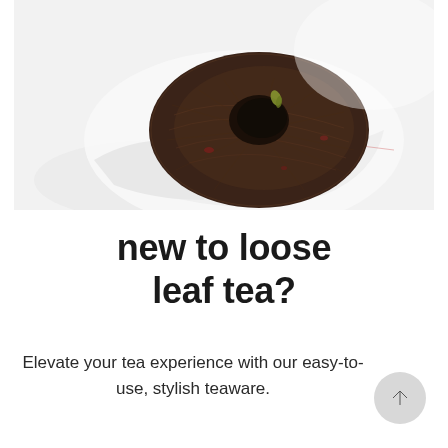[Figure (photo): A compressed pu-erh tea cake (tuo cha) partially unwrapped from white paper with red printed text, photographed from above on a white background. The tea cake is dark brown/black, disc-shaped with a hollow center, sitting on white wrapping paper.]
new to loose leaf tea?
Elevate your tea experience with our easy-to-use, stylish teaware.